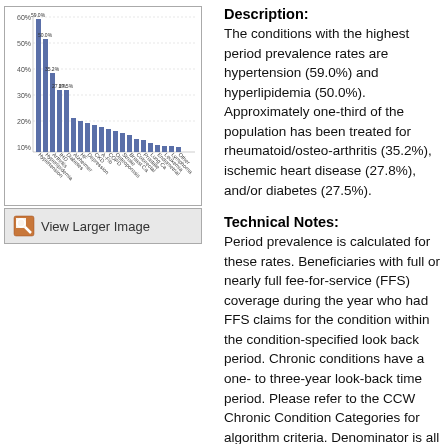[Figure (bar-chart): Bar chart showing period prevalence rates for various chronic conditions. Bars are in blue/slate color. Tallest bars correspond to hypertension (59.0%) and hyperlipidemia (50.0%). X-axis labels are at a diagonal angle.]
View Larger Image
Description:
The conditions with the highest period prevalence rates are hypertension (59.0%) and hyperlipidemia (50.0%). Approximately one-third of the population has been treated for rheumatoid/osteo-arthritis (35.2%), ischemic heart disease (27.8%), and/or diabetes (27.5%).
Technical Notes:
Period prevalence is calculated for these rates. Beneficiaries with full or nearly full fee-for-service (FFS) coverage during the year who had FFS claims for the condition within the condition-specified look back period. Chronic conditions have a one- to three-year look-back time period. Please refer to the CCW Chronic Condition Categories for algorithm criteria. Denominator is all who were enrolled in Medicare on or after January 1, 2019 and had full or